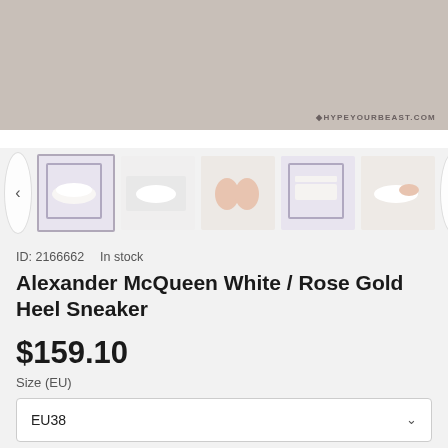[Figure (photo): Main product image area showing Alexander McQueen sneakers in a styled gray/taupe background with watermark #HYPEYOURBEAST.COM]
[Figure (photo): Row of 5 thumbnail images of Alexander McQueen White/Rose Gold Heel Sneakers from different angles]
ID: 2166662   In stock
Alexander McQueen White / Rose Gold Heel Sneaker
$159.10
Size (EU)
EU38